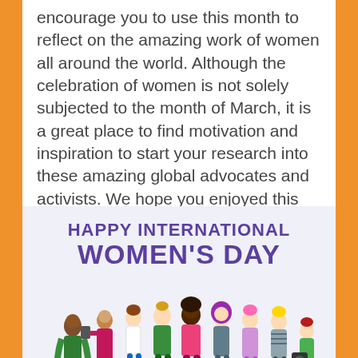encourage you to use this month to reflect on the amazing work of women all around the world. Although the celebration of women is not solely subjected to the month of March, it is a great place to find motivation and inspiration to start your research into these amazing global advocates and activists. We hope you enjoyed this post on the 255 and look forward to seeing you next week. Lastly, we would like to remind everyone to be kind, stay safe, and celebrate women!!
[Figure (illustration): Happy International Women's Day illustration showing diverse group of women with text 'HAPPY INTERNATIONAL WOMEN'S DAY' in purple above them]